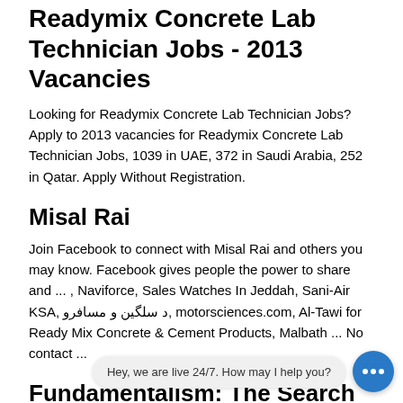Readymix Concrete Lab Technician Jobs - 2013 Vacancies
Looking for Readymix Concrete Lab Technician Jobs? Apply to 2013 vacancies for Readymix Concrete Lab Technician Jobs, 1039 in UAE, 372 in Saudi Arabia, 252 in Qatar. Apply Without Registration.
Misal Rai
Join Facebook to connect with Misal Rai and others you may know. Facebook gives people the power to share and ... , Naviforce, Sales Watches In Jeddah, Sani-Air KSA, د سلگین و مسافرو, motorsciences.com, Al-Tawi for Ready Mix Concrete & Cement Products, Malbath ... No contact ...
Fundamentalism: The Search For Meaning
The Egyptian historian Abd al-Rahman al-Jabarti (1754– 1822) wrote an account of Napoleon's invasion of Egypt in 1798 which perfectly ex... experienced when a traditional society is exposed to the bruta...